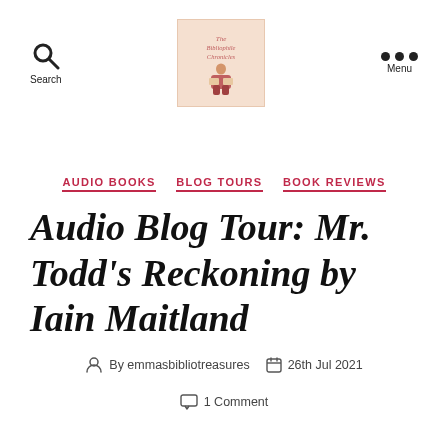[Figure (logo): Blog logo — illustrated figure with red decorative text, on a peach/cream background]
Search   Menu
AUDIO BOOKS   BLOG TOURS   BOOK REVIEWS
Audio Blog Tour: Mr. Todd's Reckoning by Iain Maitland
By emmasbibliotreasures   26th Jul 2021
1 Comment